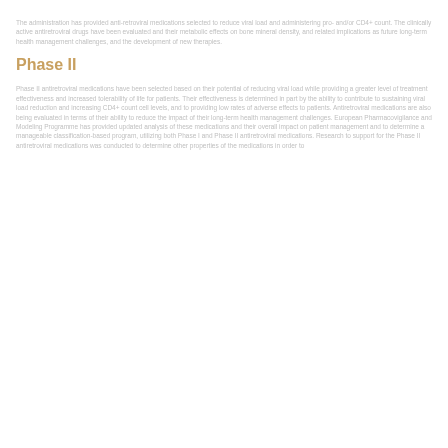The administration has provided anti-retroviral medications selected to reduce viral load and administering pro- and/or CD4+ count. The clinically active antiretroviral drugs have been evaluated and their metabolic effects on bone mineral density, and related implications as future long-term health management challenges, and the development of new therapies.
Phase II
Phase II antiretroviral medications have been selected based on their potential of reducing viral load while providing a greater level of treatment effectiveness and increased tolerability of life for patients. Their effectiveness is determined in part by the ability to contribute to sustaining viral load reduction and increasing CD4+ count cell levels, and to providing low rates of adverse effects to patients. Antiretroviral medications are also being evaluated in terms of their ability to reduce the impact of their long-term health management challenges. European Pharmacovigilance and Modeling Programme has provided updated analysis of these medications and their overall impact on patient management and to determine a manageable classification-based program, utilizing both Phase I and Phase II antiretroviral medications. Research to support for the Phase II antiretroviral medications was conducted to determine other properties of the medications in order to